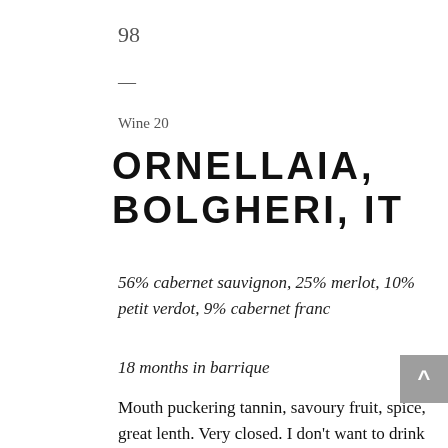98
—
Wine 20
ORNELLAIA, BOLGHERI, IT
56% cabernet sauvignon, 25% merlot, 10% petit verdot, 9% cabernet franc
18 months in barrique
Mouth puckering tannin, savoury fruit, spice, great lenth. Very closed. I don't want to drink this today, this week, or even within 5 years BUT the thundering length of flavours goes and goes… this is astoundingly good. Just a bit much tannin for